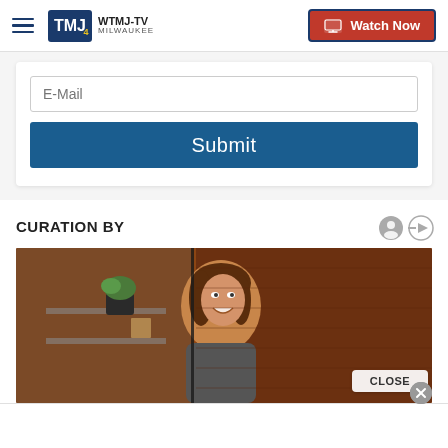WTMJ-TV Milwaukee | Watch Now
E-Mail
Submit
CURATION BY
[Figure (photo): Woman smiling in front of a red brick wall with shelving and plants in the background]
CLOSE